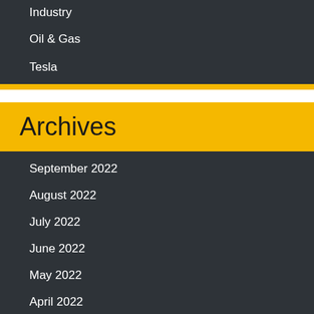Industry
Oil & Gas
Tesla
Archives
September 2022
August 2022
July 2022
June 2022
May 2022
April 2022
March 2022